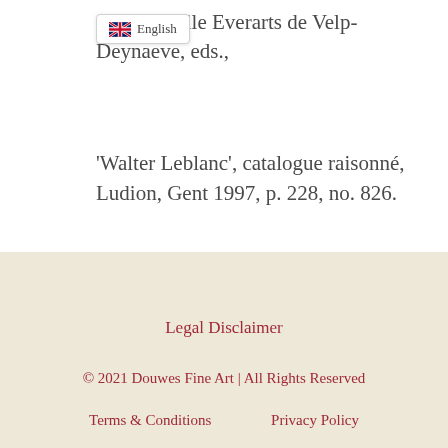anc, Danielle Everarts de Velp-
Deynaeve, eds.,
'Walter Leblanc', catalogue raisonné, Ludion, Gent 1997, p. 228, no. 826.
Legal Disclaimer
© 2021 Douwes Fine Art | All Rights Reserved
Terms & Conditions    Privacy Policy